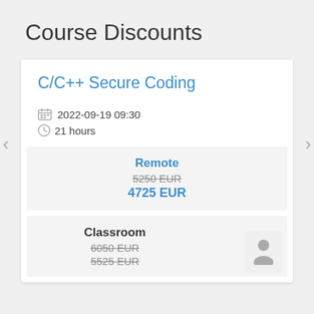Course Discounts
C/C++ Secure Coding
2022-09-19 09:30
21 hours
Remote
5250 EUR
4725 EUR
Classroom
6050 EUR
5525 EUR